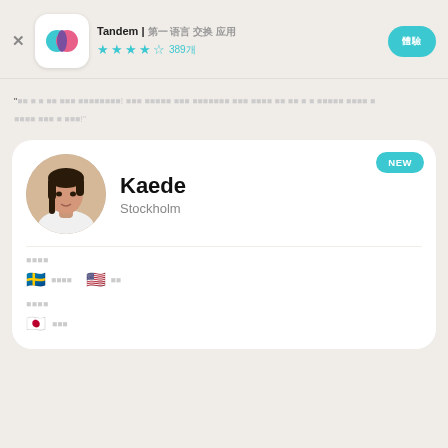Tandem | 언어 교환 파트너 찾기
"이건 내 첫 번째 정말 대단한 앱이에요! 다른 나라의 사람들과 진짜로 친구가 될 수 있고 동시에 그 언어도 배울 수 있어요 너무 좋아요 이 앱을 통해서 이미 친구를 사귀었어요!"
[Figure (screenshot): Tandem app profile card for user Kaede from Stockholm showing language skills with Swedish and English flags for spoken languages and Japanese flag for learning]
Kaede
Stockholm